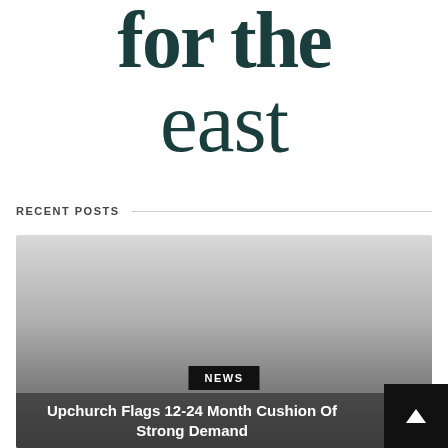[Figure (logo): Publication logo reading 'for the east' in dark teal serif font]
RECENT POSTS
[Figure (photo): Gray gradient placeholder image for news article card with NEWS badge and article title overlay]
Upchurch Flags 12-24 Month Cushion Of Strong Demand